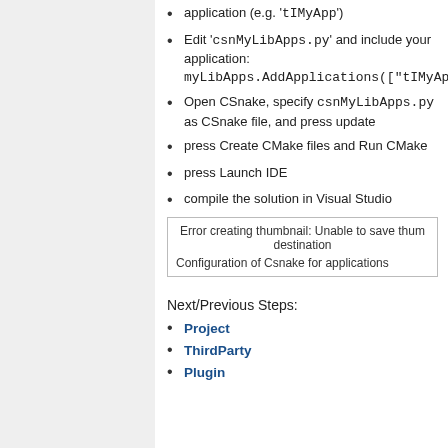application (e.g. 'tIMyApp')
Edit 'csnMyLibApps.py' and include your application: myLibApps.AddApplications(["tIMyApp"])
Open CSnake, specify csnMyLibApps.py as CSnake file, and press update
press Create CMake files and Run CMake
press Launch IDE
compile the solution in Visual Studio
[Figure (screenshot): Error box with text 'Error creating thumbnail: Unable to save thumbnail to destination' and caption 'Configuration of Csnake for applications']
Next/Previous Steps:
Project
ThirdParty
Plugin